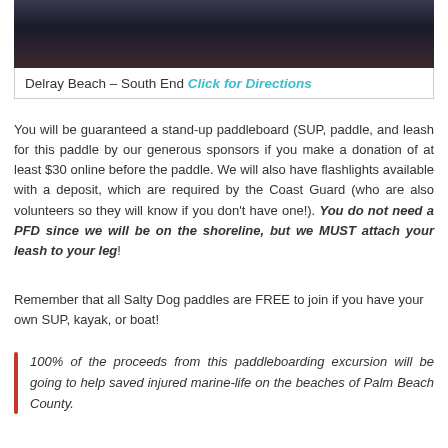[Figure (photo): Beach/ocean scene photo, dark tones, coastal environment at dusk or night]
Delray Beach – South End Click for Directions
You will be guaranteed a stand-up paddleboard (SUP, paddle, and leash for this paddle by our generous sponsors if you make a donation of at least $30 online before the paddle. We will also have flashlights available with a deposit, which are required by the Coast Guard (who are also volunteers so they will know if you don't have one!). You do not need a PFD since we will be on the shoreline, but we MUST attach your leash to your leg!
Remember that all Salty Dog paddles are FREE to join if you have your own SUP, kayak, or boat!
100% of the proceeds from this paddleboarding excursion will be going to help saved injured marine-life on the beaches of Palm Beach County.